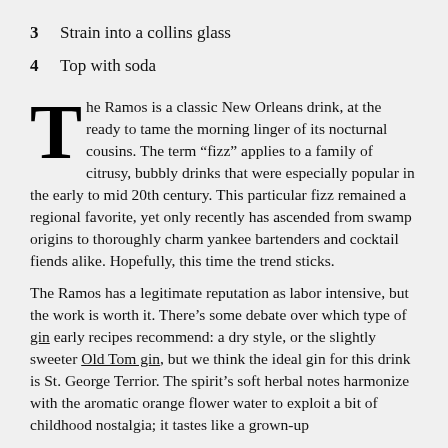3  Strain into a collins glass
4  Top with soda
The Ramos is a classic New Orleans drink, at the ready to tame the morning linger of its nocturnal cousins. The term “fizz” applies to a family of citrusy, bubbly drinks that were especially popular in the early to mid 20th century. This particular fizz remained a regional favorite, yet only recently has ascended from swamp origins to thoroughly charm yankee bartenders and cocktail fiends alike. Hopefully, this time the trend sticks.
The Ramos has a legitimate reputation as labor intensive, but the work is worth it. There’s some debate over which type of gin early recipes recommend: a dry style, or the slightly sweeter Old Tom gin, but we think the ideal gin for this drink is St. George Terrior. The spirit’s soft herbal notes harmonize with the aromatic orange flower water to exploit a bit of childhood nostalgia; it tastes like a grown-up